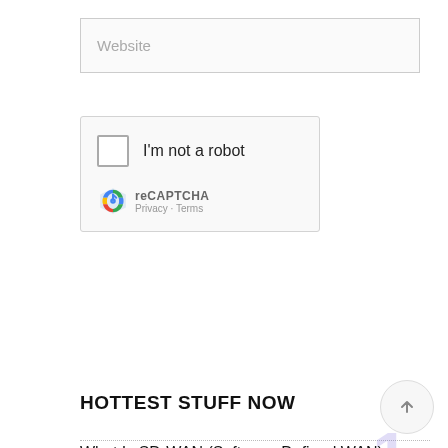[Figure (screenshot): Website input field with placeholder text 'Website']
[Figure (screenshot): reCAPTCHA widget with checkbox labeled 'I'm not a robot', reCAPTCHA logo, Privacy and Terms links]
Post a Comment
HOTTEST STUFF NOW
What Is SD-WAN (Software-Defined WAN)